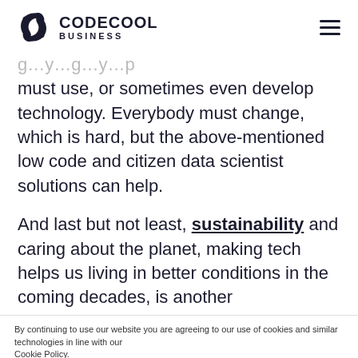CODECOOL BUSINESS
…g…y…g…y…p… must use, or sometimes even develop technology. Everybody must change, which is hard, but the above-mentioned low code and citizen data scientist solutions can help.
And last but not least, sustainability and caring about the planet, making tech helps us living in better conditions in the coming decades, is another
By continuing to use our website you are agreeing to our use of cookies and similar technologies in line with our Cookie Policy. At any point you can change your preferences in your browser's settings or delete cookies.
I ACCEPT